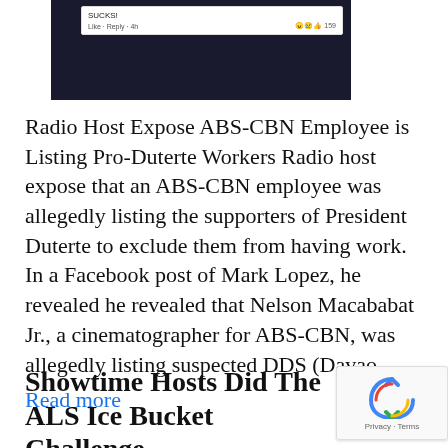[Figure (screenshot): Screenshot of a Facebook comment showing text 'SUCKS!' with Like · Reply · 4h and reaction emojis with count 159, on a dark background]
Radio Host Expose ABS-CBN Employee is Listing Pro-Duterte Workers Radio host expose that an ABS-CBN employee was allegedly listing the supporters of President Duterte to exclude them from having work. In a Facebook post of Mark Lopez, he revealed he revealed that Nelson Macababat Jr., a cinematographer for ABS-CBN, was allegedly listing suspected DDS (Davao …
Read more
Showtime Hosts Did The ALS Ice Bucket Challenge